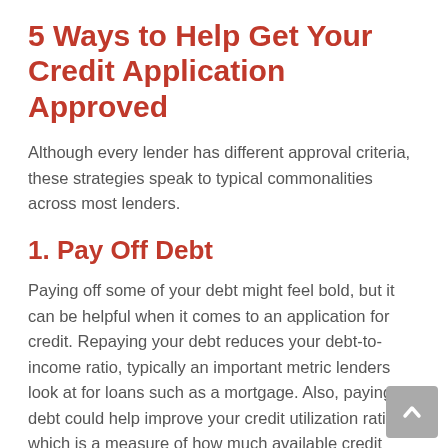5 Ways to Help Get Your Credit Application Approved
Although every lender has different approval criteria, these strategies speak to typical commonalities across most lenders.
1. Pay Off Debt
Paying off some of your debt might feel bold, but it can be helpful when it comes to an application for credit. Repaying your debt reduces your debt-to-income ratio, typically an important metric lenders look at for loans such as a mortgage. Also, paying off debt could help improve your credit utilization ratio, which is a measure of how much available credit youâre currently using right now. If youâre using most of the credit thatâs available to you, that could indicate you donât have enough cash on hand.
Not sure what debt-to-income ratio to aim for? The